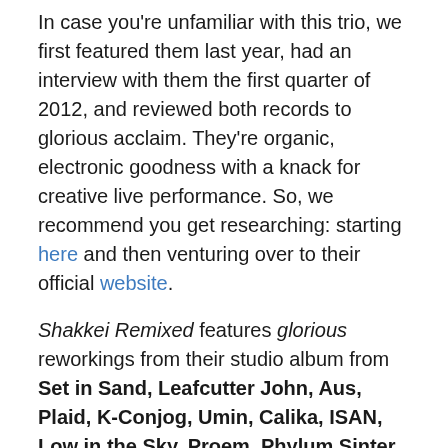In case you're unfamiliar with this trio, we first featured them last year, had an interview with them the first quarter of 2012, and reviewed both records to glorious acclaim. They're organic, electronic goodness with a knack for creative live performance. So, we recommend you get researching: starting here and then venturing over to their official website.
Shakkei Remixed features glorious reworkings from their studio album from Set in Sand, Leafcutter John, Aus, Plaid, K-Conjog, Umin, Calika, ISAN, Low in the Sky, Proem, Phylum Sinter, The Remote Viewer, Offthesky, Upward Arrows, Ghost & Tape, Melodium, and Last Man on Mars.
Contest starts today: September 23rd, 2012 and runs through October 31th, 2012! (Because we love